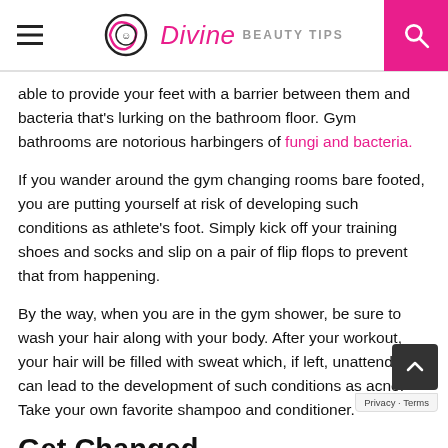Divine Beauty Tips
able to provide your feet with a barrier between them and bacteria that's lurking on the bathroom floor. Gym bathrooms are notorious harbingers of fungi and bacteria.
If you wander around the gym changing rooms bare footed, you are putting yourself at risk of developing such conditions as athlete's foot. Simply kick off your training shoes and socks and slip on a pair of flip flops to prevent that from happening.
By the way, when you are in the gym shower, be sure to wash your hair along with your body. After your workout, your hair will be filled with sweat which, if left, unattended, can lead to the development of such conditions as acne. Take your own favorite shampoo and conditioner.
Get Changed